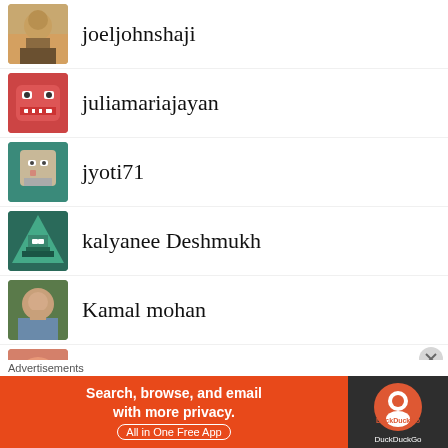joeljohnshaji
juliamariajayan
jyoti71
kalyanee Deshmukh
Kamal mohan
karamchandanisimran
karan1601
karan1610
Advertisements
[Figure (screenshot): DuckDuckGo advertisement banner: Search, browse, and email with more privacy. All in One Free App]